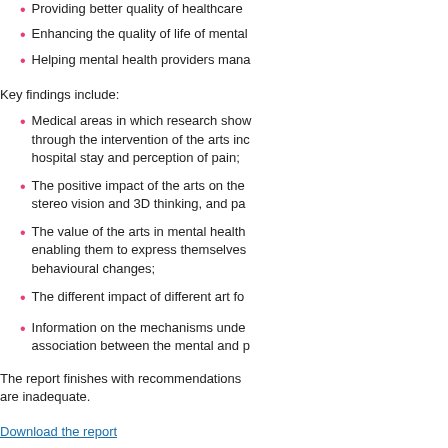Providing better quality of healthcare
Enhancing the quality of life of mental
Helping mental health providers mana
Key findings include:
Medical areas in which research show through the intervention of the arts inc hospital stay and perception of pain;
The positive impact of the arts on the stereo vision and 3D thinking, and pa
The value of the arts in mental health enabling them to express themselves behavioural changes;
The different impact of different art fo
Information on the mechanisms unde association between the mental and p
The report finishes with recommendations are inadequate.
Download the report
A Study of the Effects of Visual and Pe
Rosalie Lelchuk Staricoff, Jane P Dunca